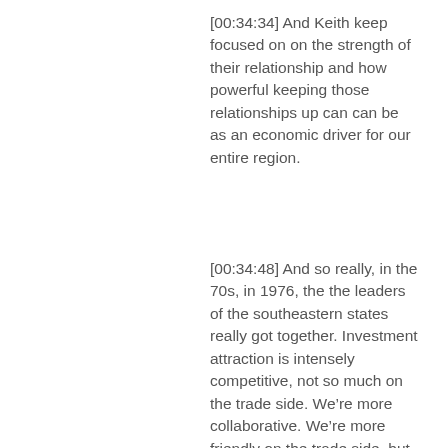[00:34:34] And Keith keep focused on on the strength of their relationship and how powerful keeping those relationships up can can be as an economic driver for our entire region.
[00:34:48] And so really, in the 70s, in 1976, the the leaders of the southeastern states really got together. Investment attraction is intensely competitive, not so much on the trade side. We’re more collaborative. We’re more friendly on the trade side, but it’s